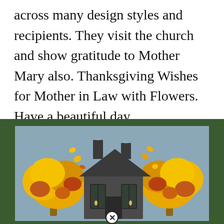across many design styles and recipients. They visit the church and show gratitude to Mother Mary also. Thanksgiving Wishes for Mother in Law with Flowers. Have a beautiful day.
[Figure (illustration): Illustration of a dark colonial-style house with two chimneys, flanked by autumn trees with yellow, orange, and brown leaves against a muted blue-grey sky background. The image has a dark green border. A small close/cancel button (circled X) appears at the bottom center of the image.]